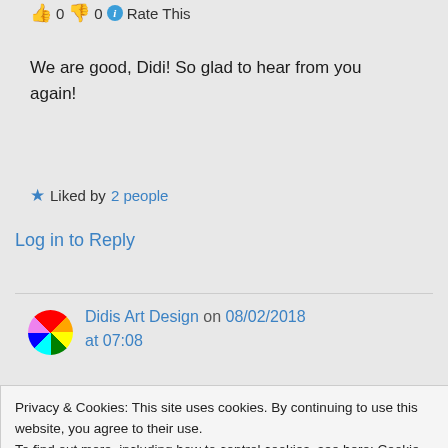👍 0 👎 0 ℹ Rate This
We are good, Didi! So glad to hear from you again!
★ Liked by 2 people
Log in to Reply
Didis Art Design on 08/02/2018 at 07:08
👍 0 👎 0 ℹ Rate This
Privacy & Cookies: This site uses cookies. By continuing to use this website, you agree to their use.
To find out more, including how to control cookies, see here: Cookie Policy
Close and accept